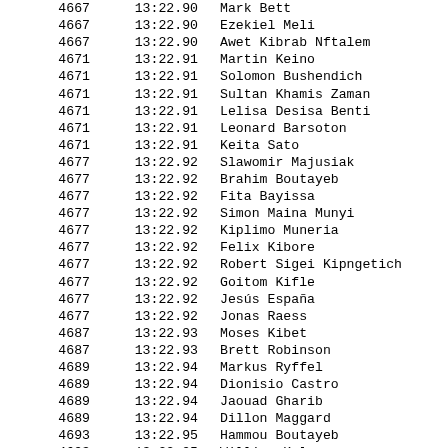| Rank | Time | Name |
| --- | --- | --- |
| 4667 | 13:22.90 | Mark Bett |
| 4667 | 13:22.90 | Ezekiel Meli |
| 4667 | 13:22.90 | Awet Kibrab Nftalem |
| 4671 | 13:22.91 | Martin Keino |
| 4671 | 13:22.91 | Solomon Bushendich |
| 4671 | 13:22.91 | Sultan Khamis Zaman |
| 4671 | 13:22.91 | Lelisa Desisa Benti |
| 4671 | 13:22.91 | Leonard Barsoton |
| 4671 | 13:22.91 | Keita Sato |
| 4677 | 13:22.92 | Slawomir Majusiak |
| 4677 | 13:22.92 | Brahim Boutayeb |
| 4677 | 13:22.92 | Fita Bayissa |
| 4677 | 13:22.92 | Simon Maina Munyi |
| 4677 | 13:22.92 | Kiplimo Muneria |
| 4677 | 13:22.92 | Felix Kibore |
| 4677 | 13:22.92 | Robert Sigei Kipngetich |
| 4677 | 13:22.92 | Goitom Kifle |
| 4677 | 13:22.92 | Jesús España |
| 4677 | 13:22.92 | Jonas Raess |
| 4687 | 13:22.93 | Moses Kibet |
| 4687 | 13:22.93 | Brett Robinson |
| 4689 | 13:22.94 | Markus Ryffel |
| 4689 | 13:22.94 | Dionisio Castro |
| 4689 | 13:22.94 | Jaouad Gharib |
| 4689 | 13:22.94 | Dillon Maggard |
| 4693 | 13:22.95 | Hammou Boutayeb |
| 4693 | 13:22.95 | William Kalya |
| 4693 | 13:22.95 | Robert Kipchumba |
| 4693 | 13:22.95 | Anas Selmouni |
| 4697 | 13:22.96 | Vincent Chepkok |
| 4697 | 13:22.96 | Moses Kipsiro |